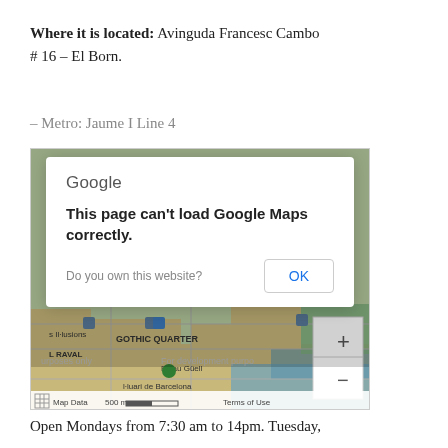Where it is located: Avinguda Francesc Cambo # 16 – El Born.
– Metro: Jaume I Line 4
[Figure (screenshot): Google Maps embed showing Barcelona area (Gothic Quarter, El Raval, Palau Güell, Aquàrium de Barcelona) with a Google Maps error dialog overlaid: 'This page can't load Google Maps correctly.' with Do you own this website? and OK button. Map footer shows Map Data, 500m scale bar, Terms of Use. Zoom controls (+/-) visible on right side of map.]
Open Mondays from 7:30 am to 14pm. Tuesday,